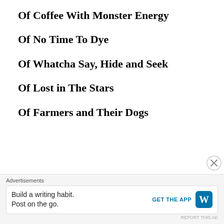Of Coffee With Monster Energy
Of No Time To Dye
Of Whatcha Say, Hide and Seek
Of Lost in The Stars
Of Farmers and Their Dogs
Archives
Advertisements
Build a writing habit. Post on the go.
GET THE APP